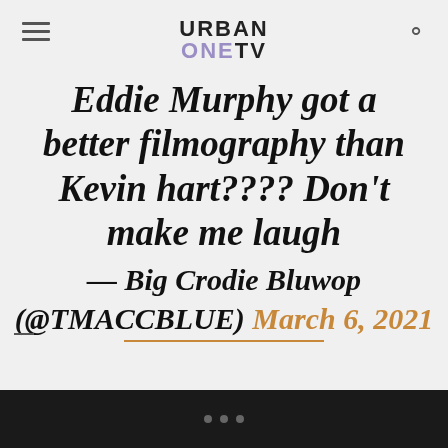URBAN ONE TV
Eddie Murphy got a better filmography than Kevin hart???? Don't make me laugh — Big Crodie Bluwop (@TMACCBLUE) March 6, 2021